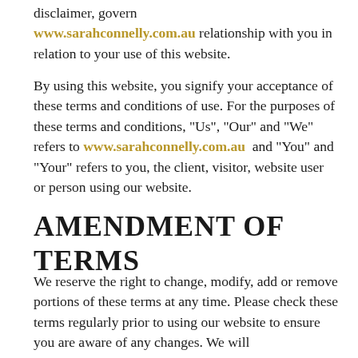disclaimer, govern www.sarahconnelly.com.au relationship with you in relation to your use of this website.
By using this website, you signify your acceptance of these terms and conditions of use. For the purposes of these terms and conditions, "Us", "Our" and "We" refers to www.sarahconnelly.com.au and "You" and "Your" refers to you, the client, visitor, website user or person using our website.
AMENDMENT OF TERMS
We reserve the right to change, modify, add or remove portions of these terms at any time. Please check these terms regularly prior to using our website to ensure you are aware of any changes. We will